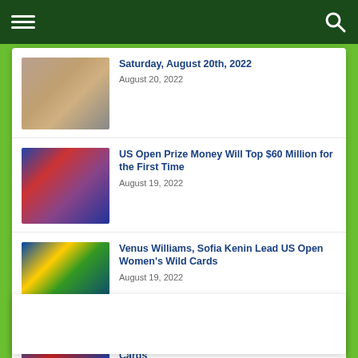Saturday, August 20th, 2022
August 20, 2022
US Open Prize Money Will Top $60 Million for the First Time
August 19, 2022
Venus Williams, Sofia Kenin Lead US Open Women's Wild Cards
August 19, 2022
Thiem, Querrey Lead US Open Men's Wild Cards
August 19, 2022